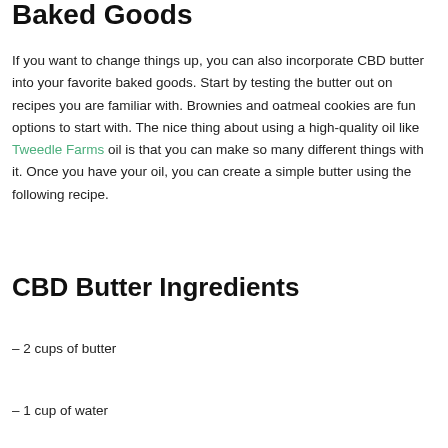Baked Goods
If you want to change things up, you can also incorporate CBD butter into your favorite baked goods. Start by testing the butter out on recipes you are familiar with. Brownies and oatmeal cookies are fun options to start with. The nice thing about using a high-quality oil like Tweedle Farms oil is that you can make so many different things with it. Once you have your oil, you can create a simple butter using the following recipe.
CBD Butter Ingredients
– 2 cups of butter
– 1 cup of water